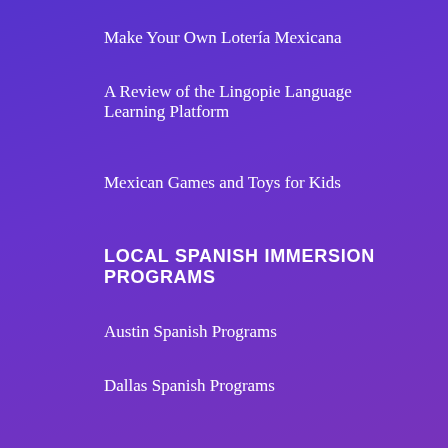Make Your Own Lotería Mexicana
A Review of the Lingopie Language Learning Platform
Mexican Games and Toys for Kids
LOCAL SPANISH IMMERSION PROGRAMS
Austin Spanish Programs
Dallas Spanish Programs
Fort Worth Spanish Programs
Houston Spanish Programs